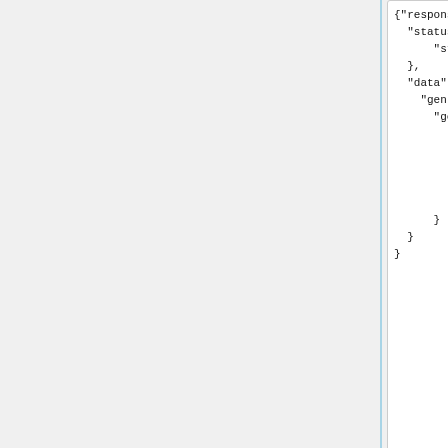{"response":{
    "statusCode":200,
        "statusText":"Ok"
  },
  "data":"{
    "genrelist":{
      "genre":[
          {"id":1,"haschildren":true,
            {"id":24,"haschildren":true
            .
            .
          ]
      }
  }
}
Sample JSON Response (with callback):
callbackfunctionname(
  {"response":{
    "statusCode":200,
    "statusText":"Ok"
    },
    "data":"{
      "genrelist":{